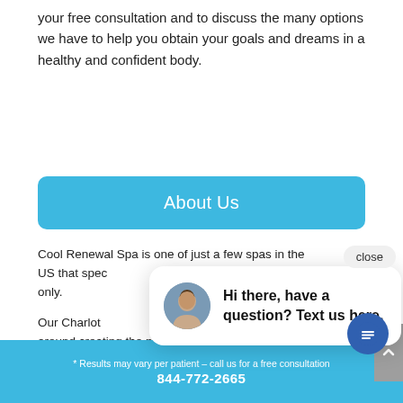your free consultation and to discuss the many options we have to help you obtain your goals and dreams in a healthy and confident body.
About Us
Cool Renewal Spa is one of just a few spas in the US that spec... only.
Our Charlot... around creating the perfect atmosphere for you to...
[Figure (other): Chat popup with avatar photo of a woman, message reading: Hi there, have a question? Text us here. With a close button and chat circle button.]
* Results may vary per patient – call us for a free consultation 844-772-2665